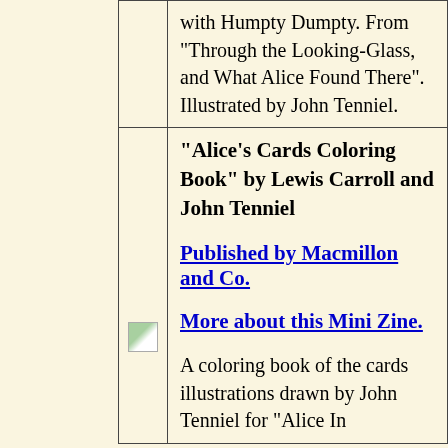|  | with Humpty Dumpty. From "Through the Looking-Glass, and What Alice Found There". Illustrated by John Tenniel. |
| [img] | "Alice's Cards Coloring Book" by Lewis Carroll and John Tenniel

Published by Macmillon and Co.

More about this Mini Zine.

A coloring book of the cards illustrations drawn by John Tenniel for "Alice In |